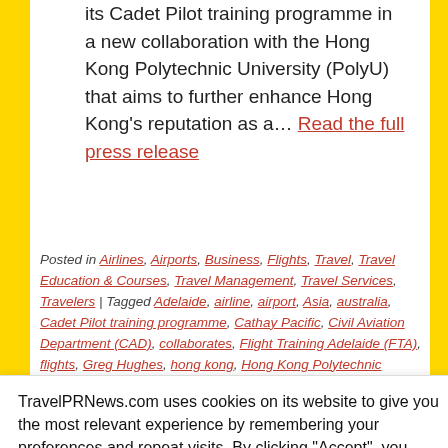its Cadet Pilot training programme in a new collaboration with the Hong Kong Polytechnic University (PolyU) that aims to further enhance Hong Kong's reputation as a… Read the full press release
Posted in Airlines, Airports, Business, Flights, Travel, Travel Education & Courses, Travel Management, Travel Services, Travelers | Tagged Adelaide, airline, airport, Asia, australia, Cadet Pilot training programme, Cathay Pacific, Civil Aviation Department (CAD), collaborates, Flight Training Adelaide (FTA), flights, Greg Hughes, hong kong, Hong Kong Polytechnic University, Jr Professor,
TravelPRNews.com uses cookies on its website to give you the most relevant experience by remembering your preferences and repeat visits. By clicking "Accept", you consent to the use of ALL the cookies.
Cookie settings  ACCEPT